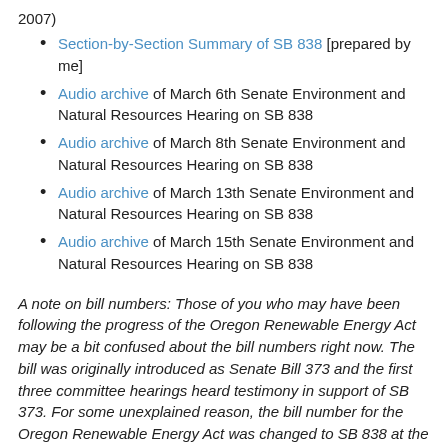2007)
Section-by-Section Summary of SB 838 [prepared by me]
Audio archive of March 6th Senate Environment and Natural Resources Hearing on SB 838
Audio archive of March 8th Senate Environment and Natural Resources Hearing on SB 838
Audio archive of March 13th Senate Environment and Natural Resources Hearing on SB 838
Audio archive of March 15th Senate Environment and Natural Resources Hearing on SB 838
A note on bill numbers: Those of you who may have been following the progress of the Oregon Renewable Energy Act may be a bit confused about the bill numbers right now. The bill was originally introduced as Senate Bill 373 and the first three committee hearings heard testimony in support of SB 373. For some unexplained reason, the bill number for the Oregon Renewable Energy Act was changed to SB 838 at the beginning of Thursday's hearing. The committee has ensured everyone that any testimony or letters submitted on SB 373 will be considered for SB 838.